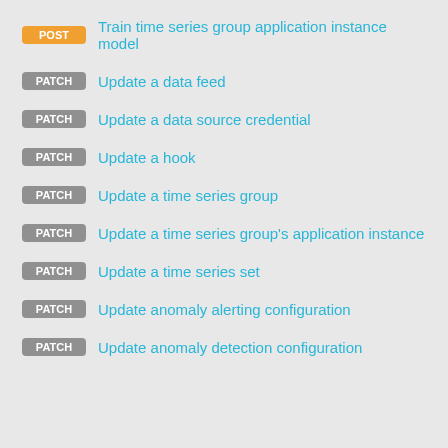POST Train time series group application instance model
PATCH Update a data feed
PATCH Update a data source credential
PATCH Update a hook
PATCH Update a time series group
PATCH Update a time series group's application instance
PATCH Update a time series set
PATCH Update anomaly alerting configuration
PATCH Update anomaly detection configuration